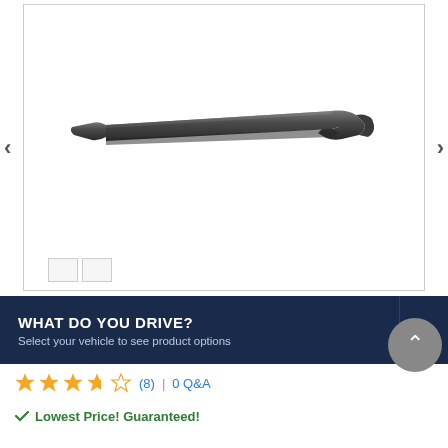[Figure (photo): A dark grey elongated car body trim strip / spoiler part, photographed on a white background. The part is long and narrow with curved ends.]
WHAT DO YOU DRIVE? Select your vehicle to see product options
★★★★☆ (8) | 0 Q&A
✓ Lowest Price! Guaranteed!